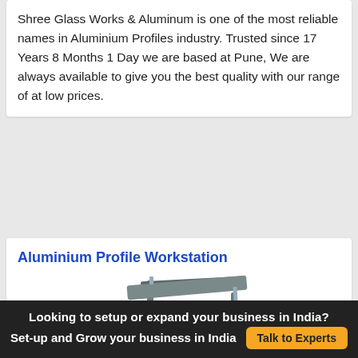Shree Glass Works & Aluminum is one of the most reliable names in Aluminium Profiles industry. Trusted since 17 Years 8 Months 1 Day we are based at Pune, We are always available to give you the best quality with our range of at low prices.
Aluminium Profile Workstation
[Figure (photo): Photo of an Aluminium Profile Workstation with blue shelves and silver aluminium frame]
Looking to setup or expand your business in India? Set-up and Grow your business in India   Talk to Experts